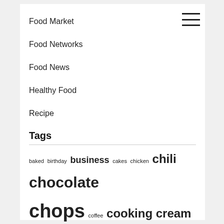Food Market
Food Networks
Food News
Healthy Food
Recipe
Tags
baked birthday business cakes chicken chili chocolate chops coffee cooking cream delicious dessert desserts dinner education garlic ground health healthy honey house ideas improvement information lorraine meatball meatballs muffins network online perfect quiche quick recipe recipes salmon shrimp simple